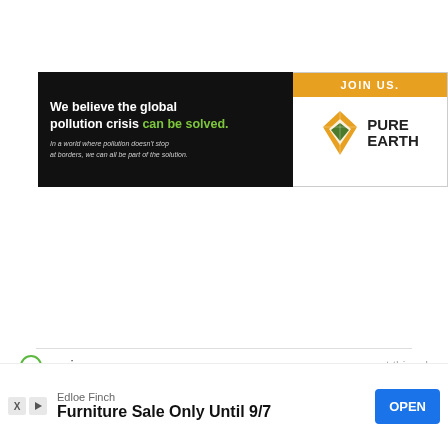[Figure (other): Pure Earth advertisement banner: black left panel with text 'We believe the global pollution crisis can be solved.' in white and green, subtext in small italic white; right white panel with orange 'JOIN US.' bar and Pure Earth logo with diamond icon.]
[Figure (logo): Ezoic branding label with green circle-e icon and 'ezoic' text, plus 'report this ad' link in gray on the right.]
← Previous Post
Next Post →
[Figure (other): Bottom advertisement banner: 'Edloe Finch' brand, 'Furniture Sale Only Until 9/7' offer text, blue OPEN button, and small X and play icons at bottom left.]